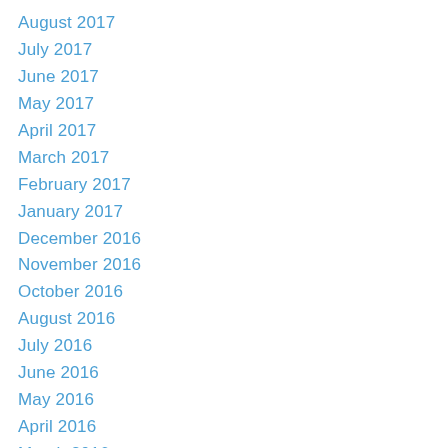August 2017
July 2017
June 2017
May 2017
April 2017
March 2017
February 2017
January 2017
December 2016
November 2016
October 2016
August 2016
July 2016
June 2016
May 2016
April 2016
March 2016
February 2016
January 2016
December 2015